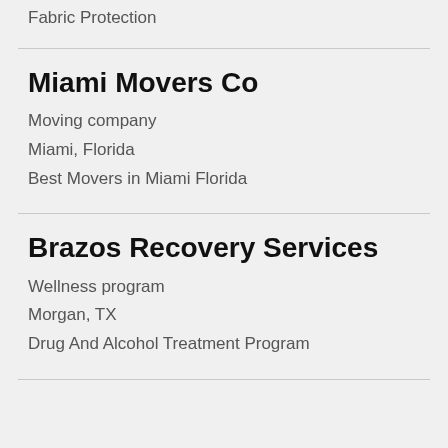Fabric Protection
Miami Movers Co
Moving company
Miami, Florida
Best Movers in Miami Florida
Brazos Recovery Services
Wellness program
Morgan, TX
Drug And Alcohol Treatment Program